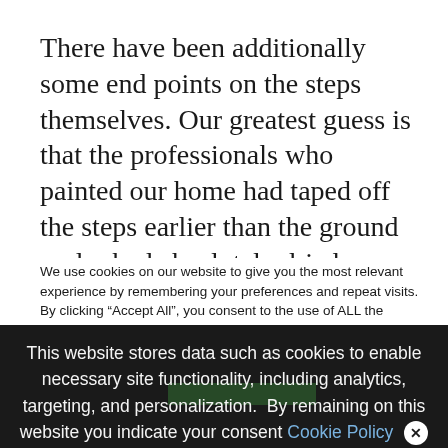There have been additionally some end points on the steps themselves. Our greatest guess is that the professionals who painted our home had taped off the steps earlier than the ground sealer had absolutely dried, so we have been left with this line of discoloration when the tape was eliminated on either side of practically each step (and a few stair fronts
We use cookies on our website to give you the most relevant experience by remembering your preferences and repeat visits. By clicking “Accept All”, you consent to the use of ALL the controlled consent.
This website stores data such as cookies to enable necessary site functionality, including analytics, targeting, and personalization. By remaining on this website you indicate your consent Cookie Policy ✕